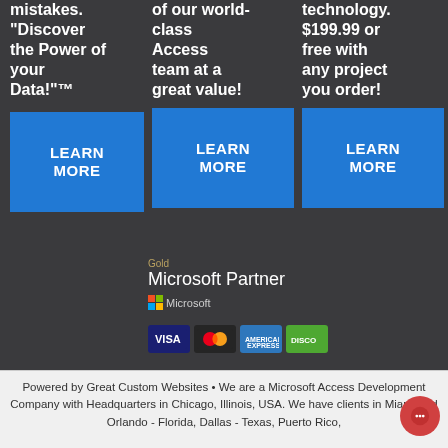mistakes. "Discover the Power of your Data!"™
of our world-class Access team at a great value!
technology. $199.99 or free with any project you order!
LEARN MORE
LEARN MORE
LEARN MORE
[Figure (logo): Gold Microsoft Partner logo with Microsoft colorful squares icon]
[Figure (logo): Payment method icons: VISA, Mastercard, American Express, Discover]
Powered by Great Custom Websites • We are a Microsoft Access Development Company with Headquarters in Chicago, Illinois, USA. We have clients in Miami and Orlando - Florida, Dallas - Texas, Puerto Rico,